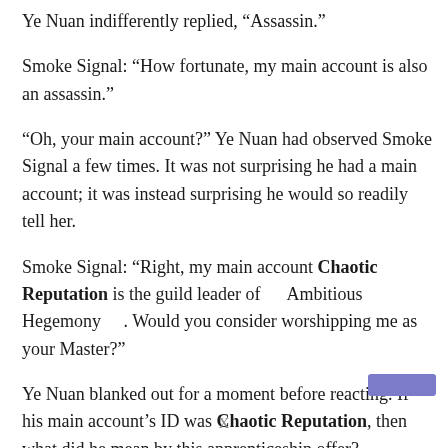Ye Nuan indifferently replied, “Assassin.”
Smoke Signal: “How fortunate, my main account is also an assassin.”
“Oh, your main account?” Ye Nuan had observed Smoke Signal a few times. It was not surprising he had a main account; it was instead surprising he would so readily tell her.
Smoke Signal: “Right, my main account Chaotic Reputation is the guild leader of 　Ambitious Hegemony　. Would you consider worshipping me as your Master?”
Ye Nuan blanked out for a moment before reacting. If his main account’s ID was Chaotic Reputation, then what did he mean by this apprenticeship offer?
X